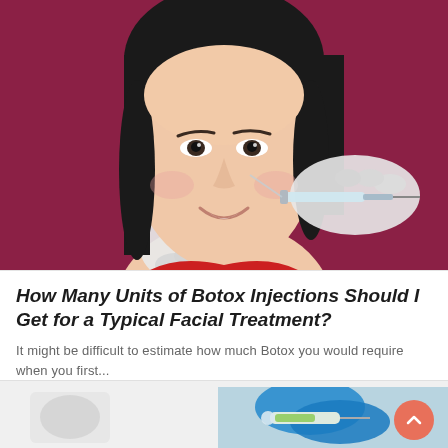[Figure (photo): Smiling Asian woman with gloved hands near her face, one hand holding a syringe/needle near her cheek, set against a dark pink/burgundy background — illustrating Botox injection treatment.]
How Many Units of Botox Injections Should I Get for a Typical Facial Treatment?
It might be difficult to estimate how much Botox you would require when you first...
Read More >
[Figure (photo): Partial view of gloved hands (blue gloves) holding a syringe with green liquid, against a grey/white background — second article card partially visible at bottom of page.]